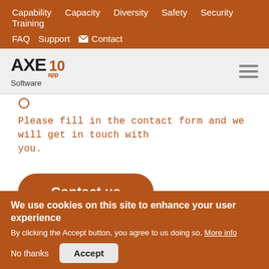Capability  Capacity  Diversity  Safety  Security  Training  FAQ  Support  ✉ Contact
[Figure (logo): AXE 10 app Software logo with hamburger menu icon]
Please fill in the contact form and we will get in touch with you.
Contact us
We use cookies on this site to enhance your user experience
By clicking the Accept button, you agree to us doing so. More info
No thanks   Accept